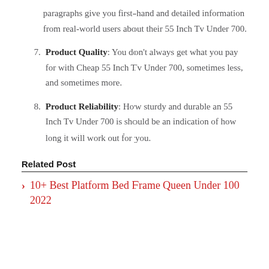paragraphs give you first-hand and detailed information from real-world users about their 55 Inch Tv Under 700.
7. Product Quality: You don't always get what you pay for with Cheap 55 Inch Tv Under 700, sometimes less, and sometimes more.
8. Product Reliability: How sturdy and durable an 55 Inch Tv Under 700 is should be an indication of how long it will work out for you.
Related Post
10+ Best Platform Bed Frame Queen Under 100 2022